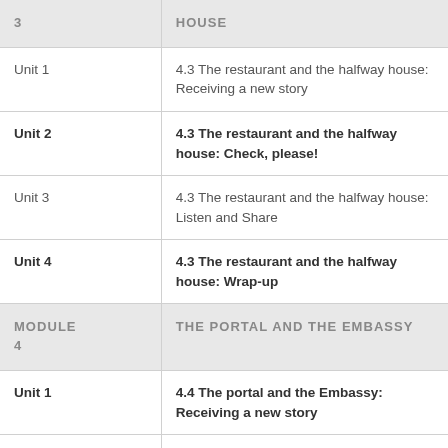| Module/Unit | Lesson Title |
| --- | --- |
| 3 | HOUSE |
| Unit 1 | 4.3 The restaurant and the halfway house: Receiving a new story |
| Unit 2 | 4.3 The restaurant and the halfway house: Check, please! |
| Unit 3 | 4.3 The restaurant and the halfway house: Listen and Share |
| Unit 4 | 4.3 The restaurant and the halfway house: Wrap-up |
| MODULE 4 | THE PORTAL AND THE EMBASSY |
| Unit 1 | 4.4 The portal and the Embassy: Receiving a new story |
| Unit 2 | 4.4 The portal and the Embassy: Paradigm shift |